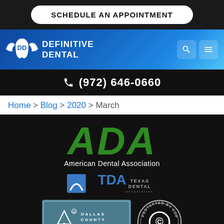SCHEDULE AN APPOINTMENT
[Figure (logo): Definitive Dental logo with winged tooth icon and text 'Definitive Dental']
(972) 646-0660
Home > Blog > 2020 > March
[Figure (logo): ADA American Dental Association logo in green]
[Figure (logo): TDA Texas Dental Association logo]
[Figure (logo): Dallas County Dental Society logo]
[Figure (logo): Protected by Copyscape - Do Not Copy badge]